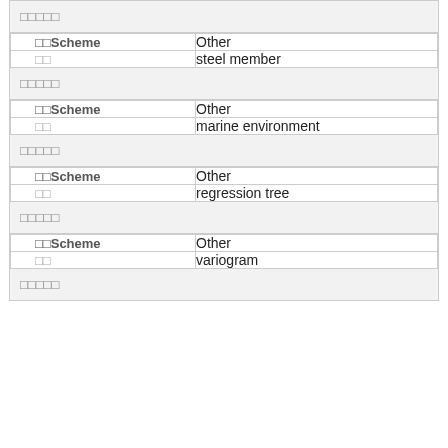| □□□□□ |  |
| □□Scheme | Other |
| □□ | steel member |
| □□□□□ |  |
| □□Scheme | Other |
| □□ | marine environment |
| □□□□□ |  |
| □□Scheme | Other |
| □□ | regression tree |
| □□□□□ |  |
| □□Scheme | Other |
| □□ | variogram |
| □□□□□ |  |